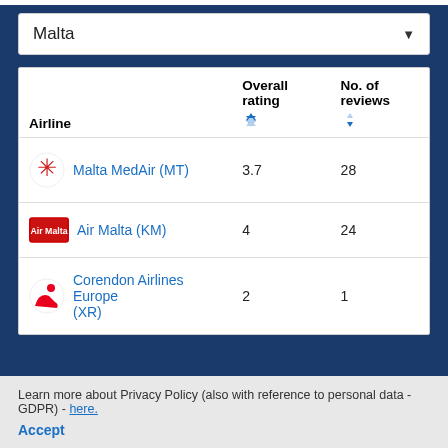Malta
| Airline | Overall rating | No. of reviews |
| --- | --- | --- |
| Malta MedAir (MT) | 3.7 | 28 |
| Air Malta (KM) | 4 | 24 |
| Corendon Airlines Europe (XR) | 2 | 1 |
Learn more about Privacy Policy (also with reference to personal data - GDPR) - here.
Accept